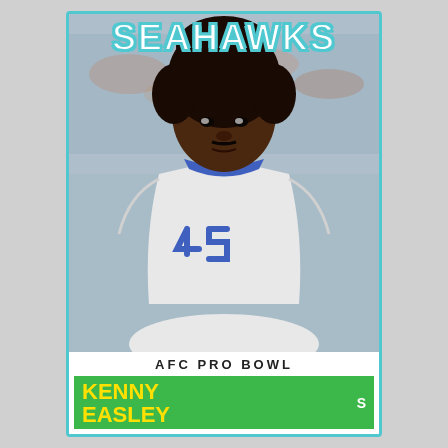SEAHAWKS
[Figure (photo): Kenny Easley, Seattle Seahawks safety, wearing white jersey with number 45, photographed against blurred stadium crowd background]
AFC PRO BOWL
KENNY EASLEY  S